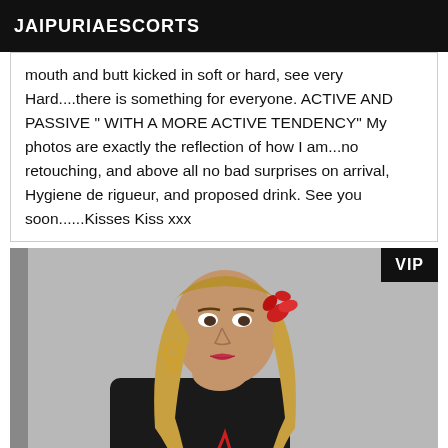JAIPURIAESCORTS
mouth and butt kicked in soft or hard, see very Hard....there is something for everyone. ACTIVE AND PASSIVE " WITH A MORE ACTIVE TENDENCY" My photos are exactly the reflection of how I am...no retouching, and above all no bad surprises on arrival, Hygiene de rigueur, and proposed drink. See you soon......Kisses Kiss xxx
[Figure (photo): A woman with blonde hair and a red flower/feather hair accessory, wearing dark clothing, photographed against a light grey background. A VIP badge appears in the top-right corner of the image.]